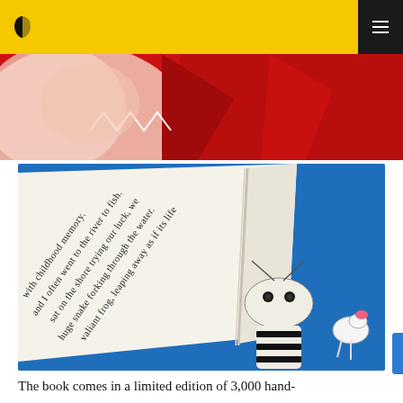[Figure (photo): Yellow navigation header bar with black logo (leaf/bird silhouette) on left and dark hamburger menu button on right]
[Figure (photo): Close-up photo strip showing red fabric and pink/white textile material with geometric shapes]
[Figure (photo): Open book photographed against blue embroidered fabric background featuring a striped snake illustration. Book text reads: 'with childhood memory. and I often went to the river to fish. sat on the shore trying our luck, we huge snake forking through the water. valiant frog, leaping away as if its life']
The book comes in a limited edition of 3,000 hand-